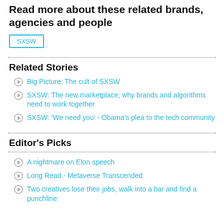Read more about these related brands, agencies and people
SXSW
Related Stories
Big Picture: The cult of SXSW
SXSW: The new marketplace; why brands and algorithms need to work together
SXSW: 'We need you' - Obama's plea to the tech community
Editor's Picks
A nightmare on Elon speech
Long Read - Metaverse Transcended
Two creatives lose their jobs, walk into a bar and find a punchline